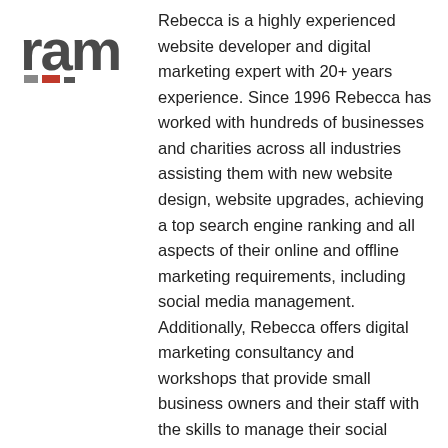[Figure (logo): Logo showing 'ram' text in bold dark gray with colored square dots below]
Rebecca is a highly experienced website developer and digital marketing expert with 20+ years experience. Since 1996 Rebecca has worked with hundreds of businesses and charities across all industries assisting them with new website design, website upgrades, achieving a top search engine ranking and all aspects of their online and offline marketing requirements, including social media management. Additionally, Rebecca offers digital marketing consultancy and workshops that provide small business owners and their staff with the skills to manage their social media and digital marketing in-house and the confidence to maintain their websites and search engine